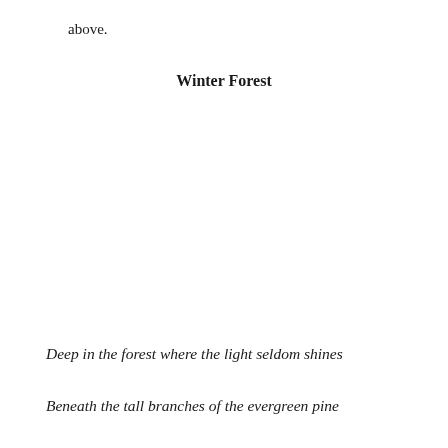above.
Winter Forest
Deep in the forest where the light seldom shines
Beneath the tall branches of the evergreen pine